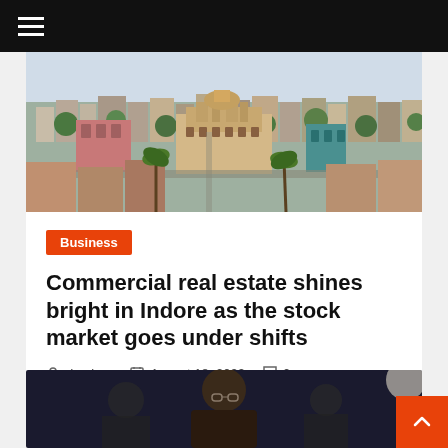Navigation bar with hamburger menu
[Figure (photo): Aerial view of Indore city showing dense urban buildings, temple structures, and green trees]
Business
Commercial real estate shines bright in Indore as the stock market goes under shifts
dsprime   August 18, 2022   0
[Figure (photo): Person wearing glasses in a dark setting, partially visible]